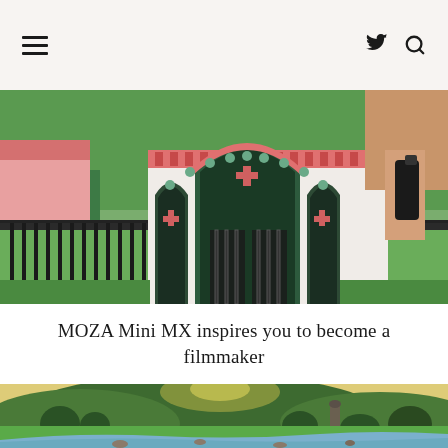Navigation header with hamburger menu, Twitter icon, and search icon
[Figure (photo): A person holding a camera gimbal stabilizer in front of a white and pink ornate chapel gate with arched entrance and cross decorations, surrounded by green trees and grass]
MOZA Mini MX inspires you to become a filmmaker
[Figure (photo): A scenic landscape with a green meadow, a winding river with rocks in the foreground, lush trees, rolling hills and a round tower in the background under a warm golden sunset sky]